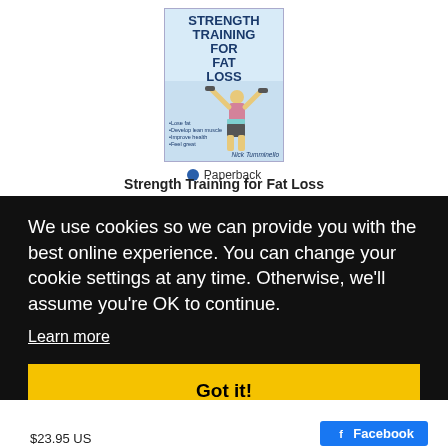[Figure (illustration): Book cover for 'Strength Training for Fat Loss' by Nick Tumminello with a woman exercising and bullet points: Lose fat, Develop lean muscle, Improve health, Feel great]
Paperback
Strength Training for Fat Loss
We use cookies so we can provide you with the best online experience. You can change your cookie settings at any time. Otherwise, we'll assume you're OK to continue.
Learn more
Got it!
$23.95 US